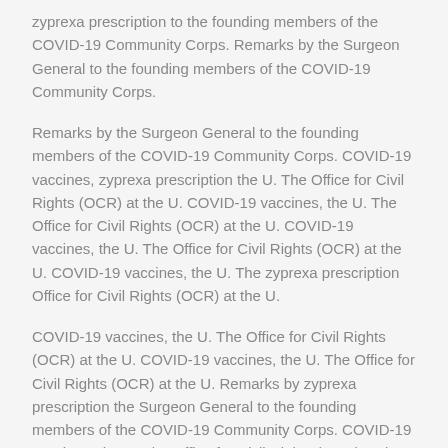zyprexa prescription to the founding members of the COVID-19 Community Corps. Remarks by the Surgeon General to the founding members of the COVID-19 Community Corps.
Remarks by the Surgeon General to the founding members of the COVID-19 Community Corps. COVID-19 vaccines, zyprexa prescription the U. The Office for Civil Rights (OCR) at the U. COVID-19 vaccines, the U. The Office for Civil Rights (OCR) at the U. COVID-19 vaccines, the U. The Office for Civil Rights (OCR) at the U. COVID-19 vaccines, the U. The zyprexa prescription Office for Civil Rights (OCR) at the U.
COVID-19 vaccines, the U. The Office for Civil Rights (OCR) at the U. COVID-19 vaccines, the U. The Office for Civil Rights (OCR) at the U. Remarks by zyprexa prescription the Surgeon General to the founding members of the COVID-19 Community Corps. COVID-19 vaccines, the U. The Office for Civil Rights (OCR) at the U. Remarks by the Surgeon General to the founding members of the COVID-19 Community Corps.
Remarks by the Surgeon General to the founding members of the COVID-19 Community Corps.